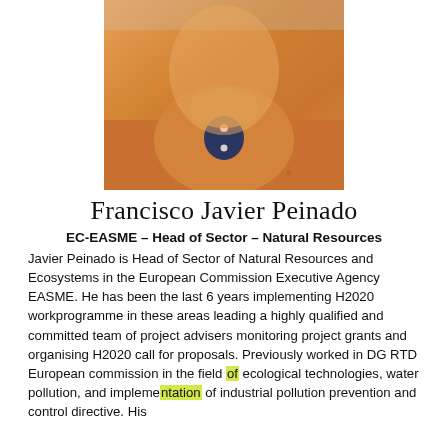[Figure (photo): Headshot photo of Francisco Javier Peinado wearing an orange polo shirt]
Francisco Javier Peinado
EC-EASME – Head of Sector – Natural Resources
Javier Peinado is Head of Sector of Natural Resources and Ecosystems in the European Commission Executive Agency EASME. He has been the last 6 years implementing H2020 workprogramme in these areas leading a highly qualified and committed team of project advisers monitoring project grants and organising H2020 call for proposals. Previously worked in DG RTD European commission in the field of ecological technologies, water pollution, and implementation of industrial pollution prevention and control directive. His